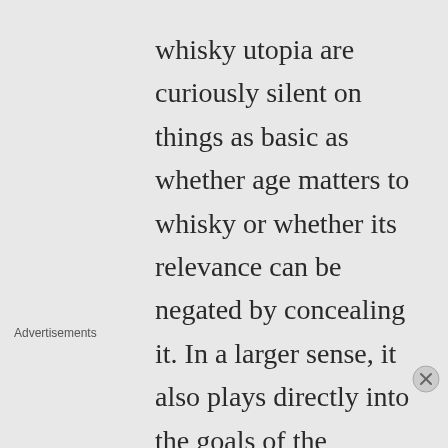whisky utopia are curiously silent on things as basic as whether age matters to whisky or whether its relevance can be negated by concealing it. In a larger sense, it also plays directly into the goals of the industry itself: there is no need for superior
Advertisements
[Figure (other): WordPress.com advertisement banner with blue background, WordPress logo on left, and 'Build Your Website' pink button on right]